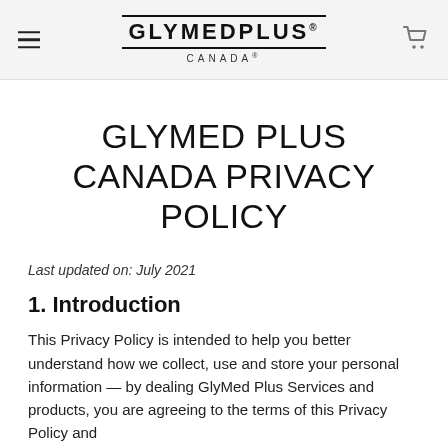GLYMEDPLUS® CANADA®
GLYMED PLUS CANADA PRIVACY POLICY
Last updated on: July 2021
1. Introduction
This Privacy Policy is intended to help you better understand how we collect, use and store your personal information — by dealing GlyMed Plus Services and products, you are agreeing to the terms of this Privacy Policy and...